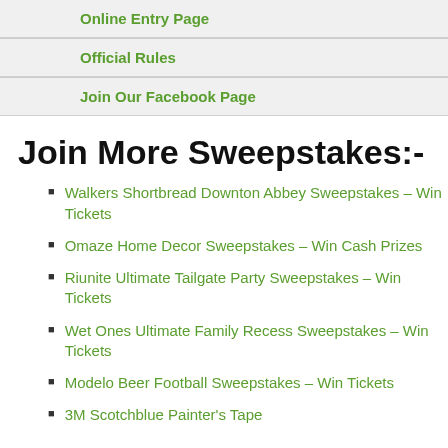Online Entry Page
Official Rules
Join Our Facebook Page
Join More Sweepstakes:-
Walkers Shortbread Downton Abbey Sweepstakes – Win Tickets
Omaze Home Decor Sweepstakes – Win Cash Prizes
Riunite Ultimate Tailgate Party Sweepstakes – Win Tickets
Wet Ones Ultimate Family Recess Sweepstakes – Win Tickets
Modelo Beer Football Sweepstakes – Win Tickets
3M Scotchblue Painter's Tape